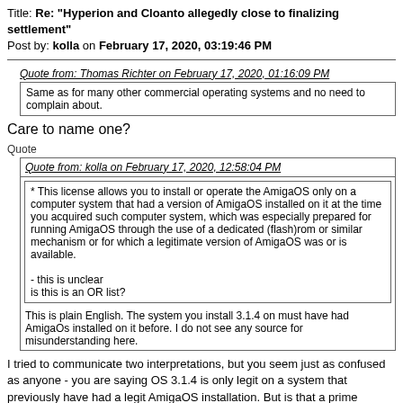Title: Re: "Hyperion and Cloanto allegedly close to finalizing settlement"
Post by: kolla on February 17, 2020, 03:19:46 PM
Quote from: Thomas Richter on February 17, 2020, 01:16:09 PM
Same as for many other commercial operating systems and no need to complain about.
Care to name one?
Quote
Quote from: kolla on February 17, 2020, 12:58:04 PM
* This license allows you to install or operate the AmigaOS only on a computer system that had a version of AmigaOS installed on it at the time you acquired such computer system, which was especially prepared for running AmigaOS through the use of a dedicated (flash)rom or similar mechanism or for which a legitimate version of AmigaOS was or is available.

- this is unclear
is this is an OR list?
This is plain English. The system you install 3.1.4 on must have had AmigaOs installed on it before. I do not see any source for misunderstanding here.
I tried to communicate two interpretations, but you seem just as confused as anyone - you are saying OS 3.1.4 is only legit on a system that previously have had a legit AmigaOS installation. But is that a prime condition that must be met, or is it one of three possible conditions, of which only one need to be met?
And then it comes down to what Hyperion considers a legal AmigaOS installation.